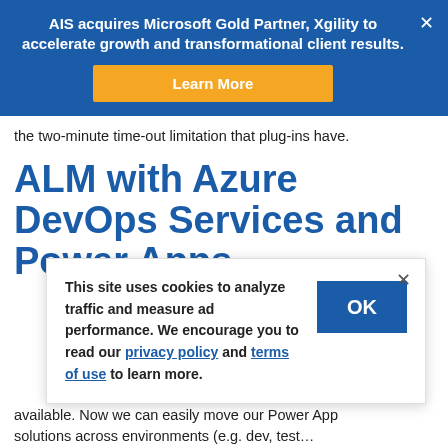AIS acquires Microsoft Gold Partner, Xgility to accelerate growth and transformational client results.
the two-minute time-out limitation that plug-ins have.
ALM with Azure DevOps Services and Power Apps
This site uses cookies to analyze traffic and measure ad performance. We encourage you to read our privacy policy and terms of use to learn more.
available. Now we can easily move our Power App solutions across environments (e.g. dev, test…